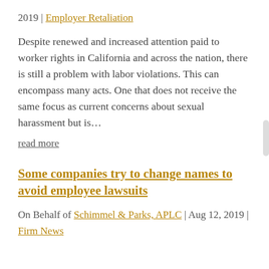2019 | Employer Retaliation
Despite renewed and increased attention paid to worker rights in California and across the nation, there is still a problem with labor violations. This can encompass many acts. One that does not receive the same focus as current concerns about sexual harassment but is…
read more
Some companies try to change names to avoid employee lawsuits
On Behalf of Schimmel & Parks, APLC | Aug 12, 2019 | Firm News